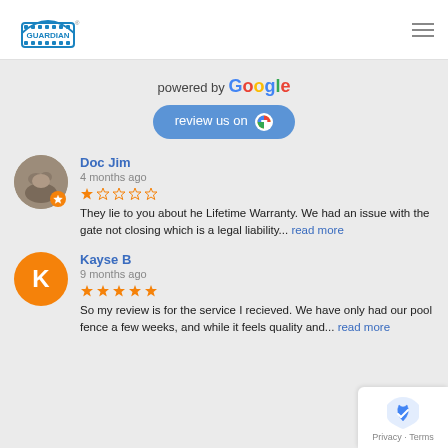[Figure (logo): Guardian pool fence logo with arch design and text GUARDIAN]
powered by Google
review us on G
Doc Jim
4 months ago
They lie to you about he Lifetime Warranty. We had an issue with the gate not closing which is a legal liability... read more
Kayse B
9 months ago
So my review is for the service I recieved. We have only had our pool fence a few weeks, and while it feels quality and... read more